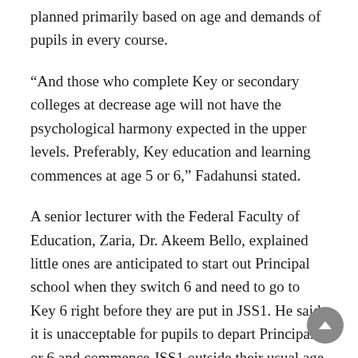planned primarily based on age and demands of pupils in every course.
“And those who complete Key or secondary colleges at decrease age will not have the psychological harmony expected in the upper levels. Preferably, Key education and learning commences at age 5 or 6,” Fadahunsi stated.
A senior lecturer with the Federal Faculty of Education, Zaria, Dr. Akeem Bello, explained little ones are anticipated to start out Principal school when they switch 6 and need to go to Key 6 right before they are put in JSS1. He said it is unacceptable for pupils to depart Principal 5 or 6 and commence JSS1 outside their usual age team, as age need is crucial in quality placement.